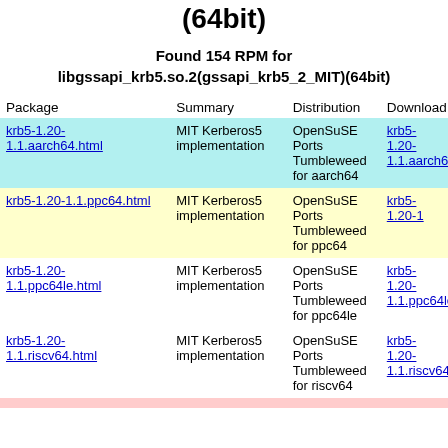(64bit)
Found 154 RPM for libgssapi_krb5.so.2(gssapi_krb5_2_MIT)(64bit)
| Package | Summary | Distribution | Download |
| --- | --- | --- | --- |
| krb5-1.20-1.1.aarch64.html | MIT Kerberos5 implementation | OpenSuSE Ports Tumbleweed for aarch64 | krb5-1.20-1.1.aarch64 |
| krb5-1.20-1.1.ppc64.html | MIT Kerberos5 implementation | OpenSuSE Ports Tumbleweed for ppc64 | krb5-1.20-1 |
| krb5-1.20-1.1.ppc64le.html | MIT Kerberos5 implementation | OpenSuSE Ports Tumbleweed for ppc64le | krb5-1.20-1.1.ppc64le |
| krb5-1.20-1.1.riscv64.html | MIT Kerberos5 implementation | OpenSuSE Ports Tumbleweed for riscv64 | krb5-1.20-1.1.riscv64. |